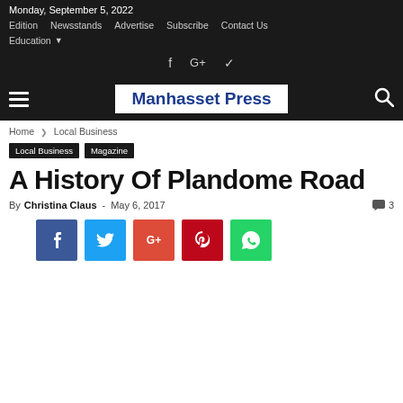Monday, September 5, 2022
Edition   Newsstands   Advertise   Subscribe   Contact Us
Education ▾
f  G+
Manhasset Press
Home › Local Business
Local Business   Magazine
A History Of Plandome Road
By Christina Claus - May 6, 2017   💬 3
[Figure (other): Social share buttons: Facebook (blue), Twitter (light blue), Google+ (red-orange), Pinterest (dark red), WhatsApp (green)]